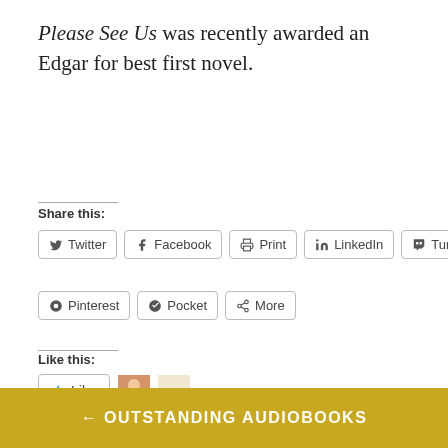Please See Us was recently awarded an Edgar for best first novel.
Share this:
Twitter | Facebook | Print | LinkedIn | Tumblr | Pinterest | Pocket | More
Like this:
Like
2 bloggers like this.
← OUTSTANDING AUDIOBOOKS